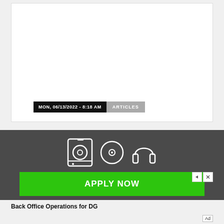[Figure (screenshot): White card area with date/article tag bar at bottom]
MON, 06/13/2022 - 8:18 AM
ARTICLES
[Figure (screenshot): Dark gray advertisement banner with hard drive, CD, headphone icons and green APPLY NOW button]
APPLY NOW
Back Office Operations for DG
Ad